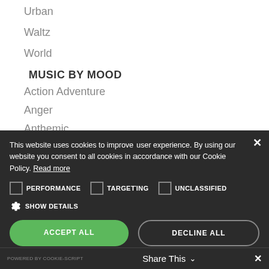Urban
Waltz
World
MUSIC BY MOOD
Action Adventure
Anger
Anthemic
This website uses cookies to improve user experience. By using our website you consent to all cookies in accordance with our Cookie Policy. Read more
PERFORMANCE  TARGETING  UNCLASSIFIED
SHOW DETAILS
ACCEPT ALL  DECLINE ALL
POWERED BY COOKIE-SCRIPT   Share This   ✕